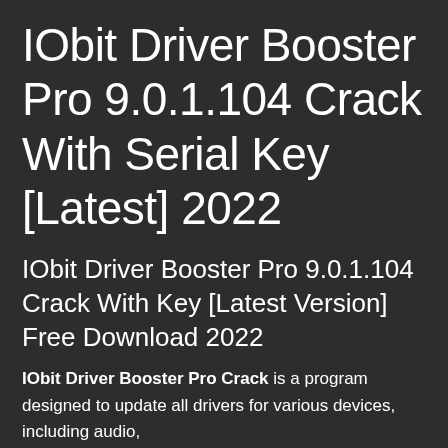IObit Driver Booster Pro 9.0.1.104 Crack With Serial Key [Latest] 2022
IObit Driver Booster Pro 9.0.1.104 Crack With Key [Latest Version] Free Download 2022
IObit Driver Booster Pro Crack is a program designed to update all drivers for various devices, including audio, ...